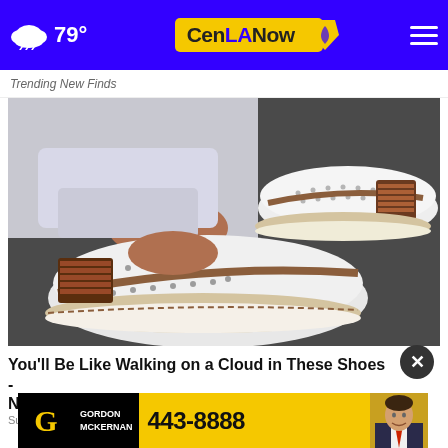79° CenLA Now
Trending New Finds
[Figure (photo): Close-up photo of a person wearing white slip-on sneakers with brown leather trim, decorative stitching, perforated upper, and striped elastic side panel, shot from ankle level on a dark surface.]
You'll Be Like Walking on a Cloud in These Shoes - Now...
Surse...
[Figure (photo): Gordon McKernan advertisement banner with black logo box, yellow background, phone number 443-8888, and photo of man in suit.]